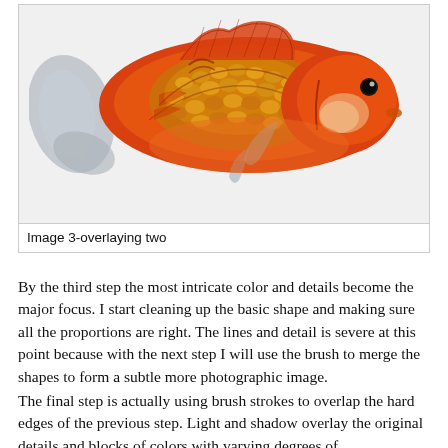[Figure (illustration): A detailed digital illustration of a goldfish with orange, red, and yellow scales, gray fins, and a black eye, shown in profile against a light gray background.]
Image 3-overlaying two
By the third step the most intricate color and details become the major focus. I start cleaning up the basic shape and making sure all the proportions are right. The lines and detail is severe at this point because with the next step I will use the brush to merge the shapes to form a subtle more photographic image.
The final step is actually using brush strokes to overlap the hard edges of the previous step. Light and shadow overlay the original details and blocks of colors with varying degrees of